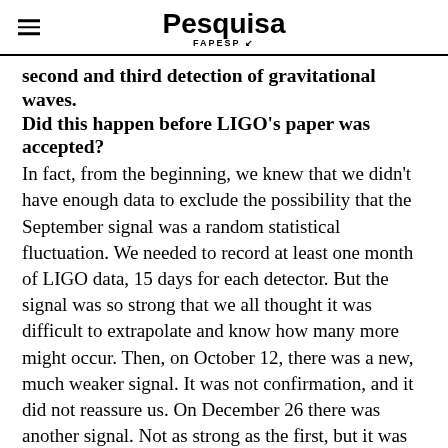Pesquisa FAPESP
second and third detection of gravitational waves. Did this happen before LIGO's paper was accepted?
In fact, from the beginning, we knew that we didn't have enough data to exclude the possibility that the September signal was a random statistical fluctuation. We needed to record at least one month of LIGO data, 15 days for each detector. But the signal was so strong that we all thought it was difficult to extrapolate and know how many more might occur. Then, on October 12, there was a new, much weaker signal. It was not confirmation, and it did not reassure us. On December 26 there was another signal. Not as strong as the first, but it was statistically very significant. That was the signal that convinced us. It was from another system of